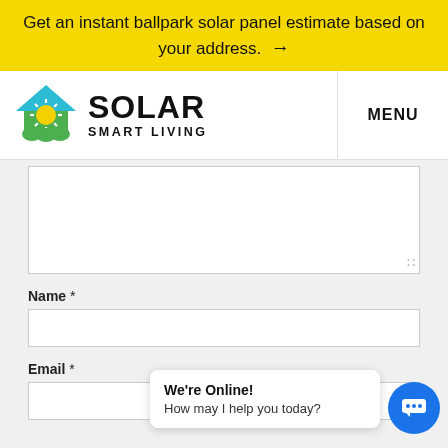Get an instant ballpark solar panel estimate based on your address. →
[Figure (logo): Solar Smart Living logo: house with sun icon in cyan/green/yellow, with SOLAR SMART LIVING text]
MENU
Name *
Email *
We're Online! How may I help you today?